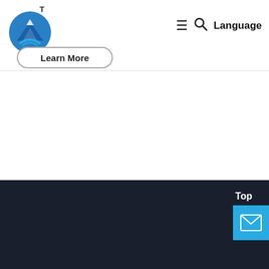Navigation bar with logo, Learn More button, hamburger menu, search icon, and Language text
[Figure (logo): Blue circular logo with mountain and river/road design, with superscript T above it]
Learn More
≡  🔍  Language
[Figure (screenshot): White empty content area below the navigation bar]
[Figure (screenshot): Dark navy background footer area]
Top
[Figure (illustration): Cyan/blue mail envelope icon button in bottom right corner]